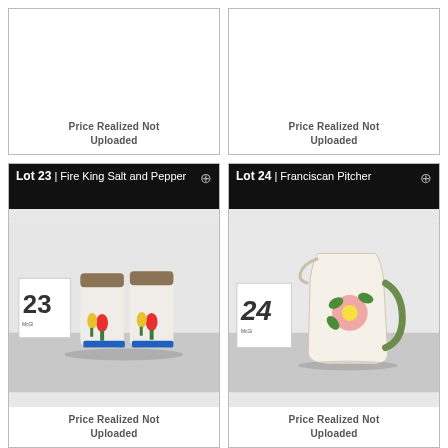Price Realized Not Uploaded
Price Realized Not Uploaded
Lot 23 | Fire King Salt and Pepper
[Figure (photo): Photo of Fire King salt and pepper shakers with tulip design, lot number 23 tag visible]
Price Realized Not Uploaded
Lot 24 | Franciscan Pitcher
[Figure (photo): Photo of Franciscan pitcher with floral design, lot number 24 tag visible]
Price Realized Not Uploaded